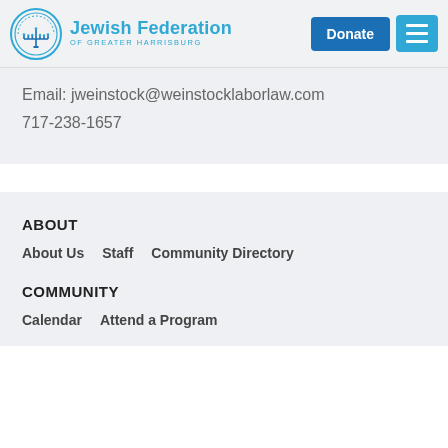Jewish Federation of Greater Harrisburg — header with Donate button and menu
Email: jweinstock@weinstocklaborlaw.com
717-238-1657
ABOUT
About Us
Staff
Community Directory
COMMUNITY
Calendar
Attend a Program